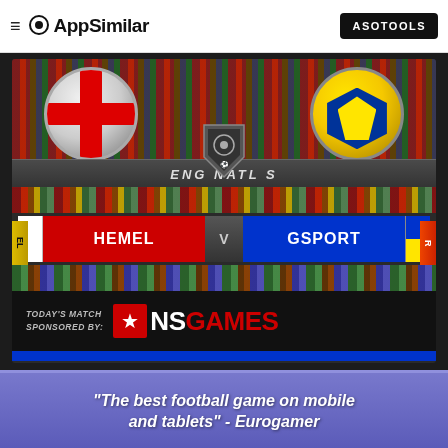≡ AppSimilar  ASOTOOLS
[Figure (screenshot): Screenshot of a football video game showing a match between HEMEL and GSPORT in ENG NATL S league, sponsored by NSGAMES, with team badges, crowd background, and match banner.]
"The best football game on mobile and tablets" - Eurogamer